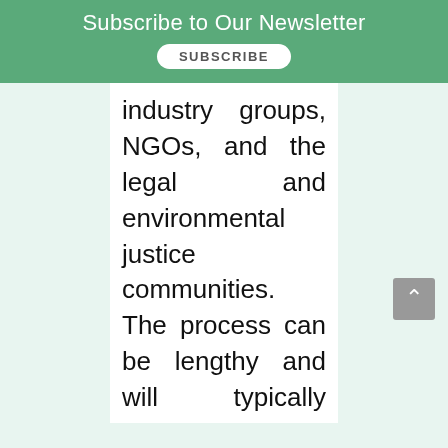Subscribe to Our Newsletter
SUBSCRIBE
industry groups, NGOs, and the legal and environmental justice communities.  The process can be lengthy and will typically include an individual proponent or group that authors the draft methodology, the formation of a stakeholder working group that provides technical and legal review, and a public comment period.  In our experience, it is quite common for a methodology development effort to take at least 12 months and cost